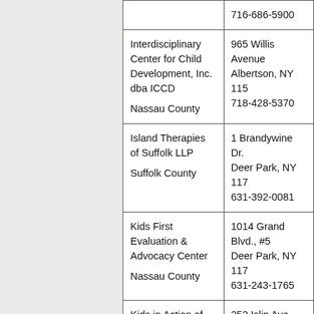| Organization / County | Address / Phone |
| --- | --- |
|  | 716-686-5900 |
| Interdisciplinary Center for Child Development, Inc. dba ICCD

Nassau County | 965 Willis Avenue
Albertson, NY 115…
718-428-5370 |
| Island Therapies of Suffolk LLP

Suffolk County | 1 Brandywine Dr.
Deer Park, NY 117…
631-392-0081 |
| Kids First Evaluation & Advocacy Center

Nassau County | 1014 Grand Blvd., #5
Deer Park, NY 117…
631-243-1765 |
| Kids in Action of Long Island | 252 Islip Ave.
Islip, NY 11751 |